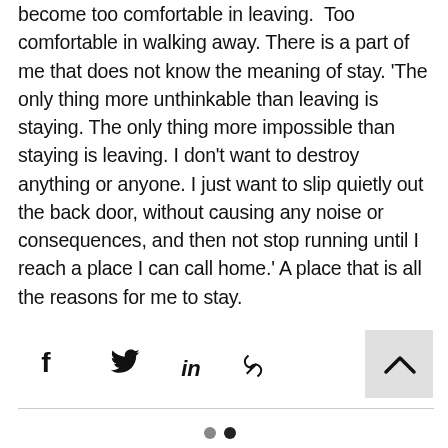become too comfortable in leaving. Too comfortable in walking away. There is a part of me that does not know the meaning of stay. 'The only thing more unthinkable than leaving is staying. The only thing more impossible than staying is leaving. I don't want to destroy anything or anyone. I just want to slip quietly out the back door, without causing any noise or consequences, and then not stop running until I reach a place I can call home.' A place that is all the reasons for me to stay.
[Figure (other): Social share icons: Facebook, Twitter, LinkedIn, link/copy icon, and a scroll-to-top button (chevron up on gray background)]